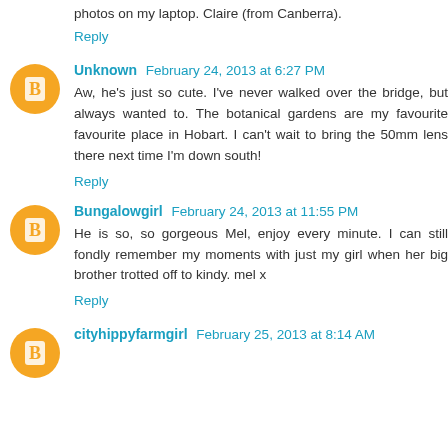photos on my laptop. Claire (from Canberra).
Reply
Unknown February 24, 2013 at 6:27 PM
Aw, he's just so cute. I've never walked over the bridge, but always wanted to. The botanical gardens are my favourite favourite place in Hobart. I can't wait to bring the 50mm lens there next time I'm down south!
Reply
Bungalowgirl February 24, 2013 at 11:55 PM
He is so, so gorgeous Mel, enjoy every minute. I can still fondly remember my moments with just my girl when her big brother trotted off to kindy. mel x
Reply
cityhippyfarmgirl February 25, 2013 at 8:14 AM